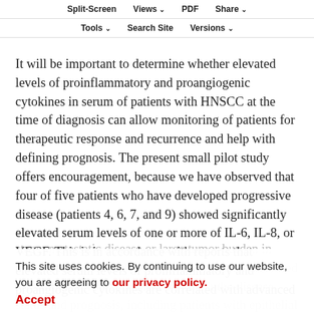Split-Screen | Views | PDF | Share | Tools | Search Site | Versions
It will be important to determine whether elevated levels of proinflammatory and proangiogenic cytokines in serum of patients with HNSCC at the time of diagnosis can allow monitoring of patients for therapeutic response and recurrence and help with defining prognosis. The present small pilot study offers encouragement, because we have observed that four of five patients who have developed progressive disease (patients 4, 6, 7, and 9) showed significantly elevated serum levels of one or more of IL-6, IL-8, or VEGF. This is in accordance with reports that elevated serum levels of proinflammatory and proangiogenic cytokines are correlated with advanced stage, metastatic disease or large tumor burden in other types of cancer. In these other cancers, increased serum IL-6 levels correlated well with the disease status and prognosis, including patients with epithelial ovarian cancer
This site uses cookies. By continuing to use our website, you are agreeing to our privacy policy. Accept